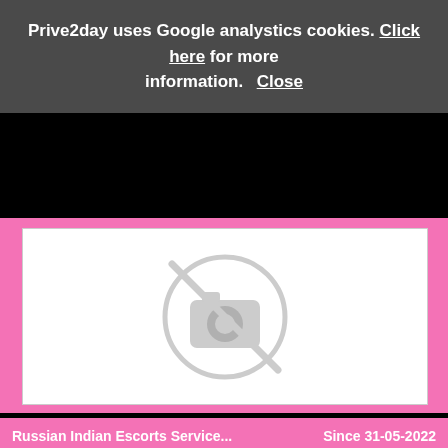Prive2day uses Google analystics cookies. Click here for more information. Close
[Figure (other): No photo available placeholder — circle with camera icon crossed out, on white background inside pink section]
Russian Indian Escorts Service...   Since 31-05-2022
Call Girls in Mahipalpur that you will find is nothing short of mind boggling. But being a Pimp, I couldn't take all these girls as mere